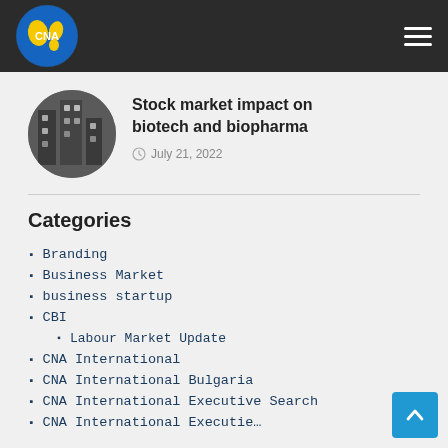CNA International – navigation bar with logo and hamburger menu
Stock market impact on biotech and biopharma
July 21, 2022
Categories
Branding
Business Market
business startup
CBI
Labour Market Update
CNA International
CNA International Bulgaria
CNA International Executive Search
CNA International Executie…